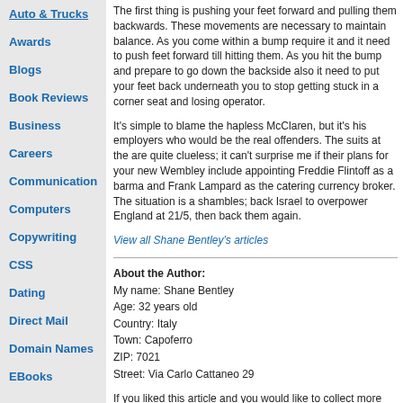Auto & Trucks
Awards
Blogs
Book Reviews
Business
Careers
Communication
Computers
Copywriting
CSS
Dating
Direct Mail
Domain Names
EBooks
The first thing is pushing your feet forward and pulling them backwards. These movements are necessary to maintain balance. As you come within a bump require it and it need to push feet forward till hitting them. As you hit the bump and prepare to go down the backside also it need to put your feet back underneath you to stop getting stuck in a corner seat and losing operator.
It’s simple to blame the hapless McClaren, but it’s his employers who would be the real offenders. The suits at the are quite clueless; it can’t surprise me if their plans for your new Wembley include appointing Freddie Flintoff as a barma and Frank Lampard as the catering currency broker. The situation is a shambles; back Israel to overpower England at 21/5, then back them again.
View all Shane Bentley’s articles
About the Author:
My name: Shane Bentley
Age: 32 years old
Country: Italy
Town: Capoferro
ZIP: 7021
Street: Via Carlo Cattaneo 29
If you liked this article and you would like to collect more info with regards to https://www.trover.com/u/soikeoinfo kindly visit the web page.
More Product Reviews articles